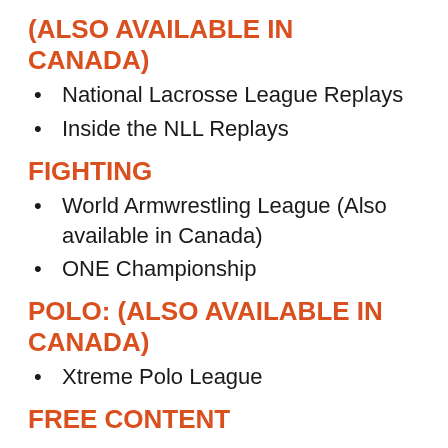(ALSO AVAILABLE IN CANADA)
National Lacrosse League Replays
Inside the NLL Replays
FIGHTING
World Armwrestling League (Also available in Canada)
ONE Championship
POLO: (ALSO AVAILABLE IN CANADA)
Xtreme Polo League
FREE CONTENT